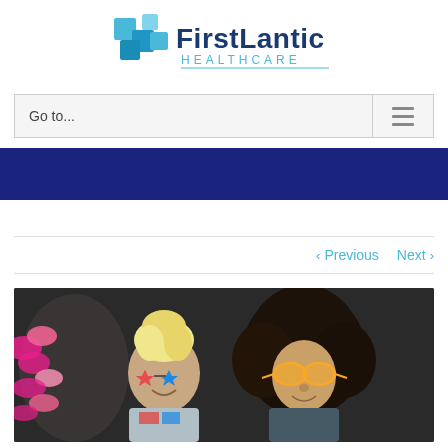[Figure (logo): FirstLantic Healthcare logo with teal cross/square icon and blue text]
Go to...
[Figure (infographic): Dark navy blue banner bar]
< Previous   Next >
[Figure (photo): Two people in costume, one with a blonde updo wig, star-shaped glasses, and pink feather boa, the other with a large black afro wig and gold sunglasses, against a dark background]